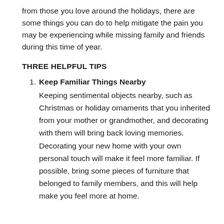from those you love around the holidays, there are some things you can do to help mitigate the pain you may be experiencing while missing family and friends during this time of year.
THREE HELPFUL TIPS
Keep Familiar Things Nearby
Keeping sentimental objects nearby, such as Christmas or holiday ornaments that you inherited from your mother or grandmother, and decorating with them will bring back loving memories. Decorating your new home with your own personal touch will make it feel more familiar. If possible, bring some pieces of furniture that belonged to family members, and this will help make you feel more at home.